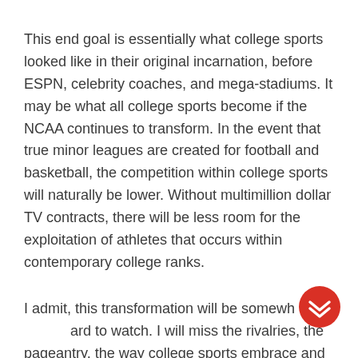This end goal is essentially what college sports looked like in their original incarnation, before ESPN, celebrity coaches, and mega-stadiums. It may be what all college sports become if the NCAA continues to transform. In the event that true minor leagues are created for football and basketball, the competition within college sports will naturally be lower. Without multimillion dollar TV contracts, there will be less room for the exploitation of athletes that occurs within contemporary college ranks.
I admit, this transformation will be somewhat hard to watch. I will miss the rivalries, the pageantry, the way college sports embrace and...